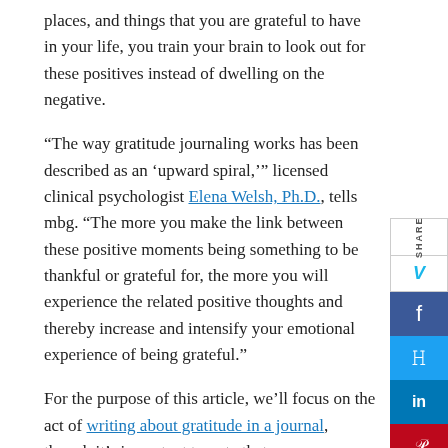places, and things that you are grateful to have in your life, you train your brain to look out for these positives instead of dwelling on the negative.
“The way gratitude journaling works has been described as an ‘upward spiral,’” licensed clinical psychologist Elena Welsh, Ph.D., tells mbg. “The more you make the link between these positive moments being something to be thankful or grateful for, the more you will experience the related positive thoughts and thereby increase and intensify your emotional experience of being grateful.”
For the purpose of this article, we’ll focus on the act of writing about gratitude in a journal, though it’s important to note that you can express your gratitude in other ways too, such as thinking about it, speaking it aloud, or scribbling it down on a computer or Post-it notes.
Research shows that in doing so, you can relieve stress